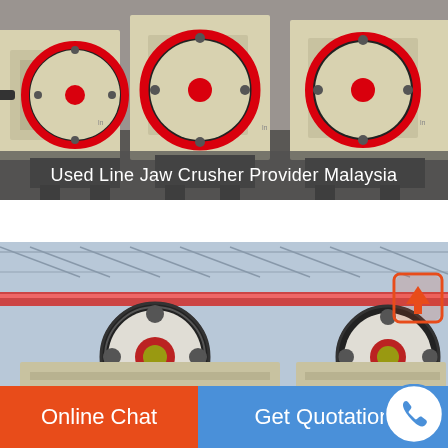[Figure (photo): Industrial jaw crushers with large red-rimmed flywheels in a factory, cream/beige colored machinery body on dark floor]
Used Line Jaw Crusher Provider Malaysia
[Figure (photo): Industrial jaw crusher machines with white and red flywheels inside a factory with steel roof structure; orange arrow-up icon in top-right corner]
Online Chat
Get Quotation